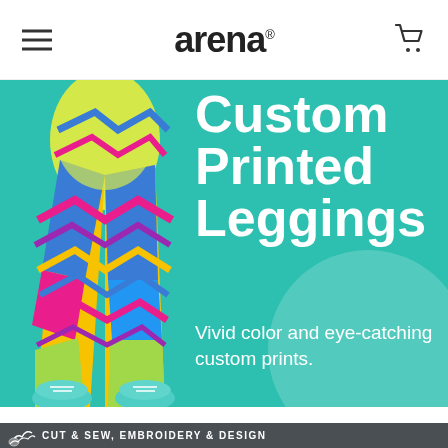arena
[Figure (photo): Person wearing colorful tie-dye printed leggings and teal sneakers, posing on a teal background]
Custom Printed Leggings
Vivid color and eye-catching custom prints.
CUT & SEW, EMBROIDERY & DESIGN